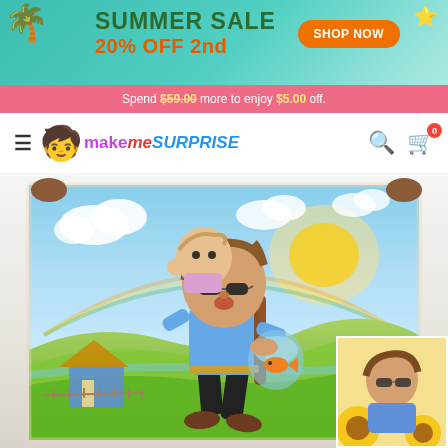[Figure (screenshot): Summer sale promotional banner with teal gradient background, palm tree decoration, starfish, green 'SUMMER SALE' text, orange '20% OFF 2nd' text, and orange 'SHOP NOW' button]
Spend $59.00 more to enjoy $5.00 off.
[Figure (logo): MakeMeSurprise logo with cartoon girl emoji and colorful text]
[Figure (photo): E-commerce product page showing a custom illustrated blanket with caricature of a man with sunglasses carrying a baby and holding a fishbowl, with a countryside background. A thumbnail preview shows a person's face photo.]